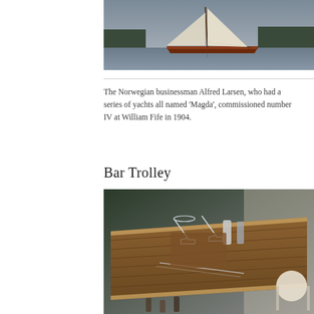[Figure (photo): A classic wooden sailing yacht with tall cream-colored sails on calm water, with forested hills in the background at dusk or overcast light.]
The Norwegian businessman Alfred Larsen, who had a series of yachts all named 'Magda', commissioned number IV at William Fife in 1904.
Bar Trolley
[Figure (photo): A close-up of a wooden bar trolley set with cocktail glasses, bar tools, bottles and accessories on a teak-slatted surface with leather trim edging.]